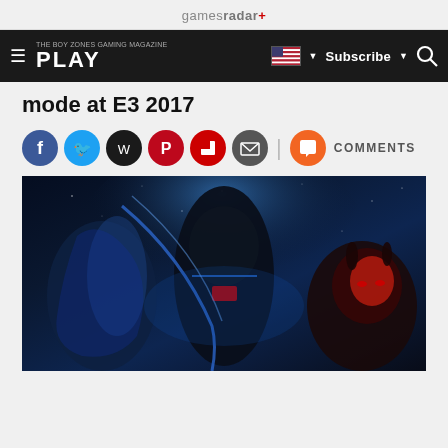gamesradar+
[Figure (screenshot): Navigation bar with PLAY magazine logo, hamburger menu, US flag dropdown, Subscribe button, and search icon on dark background]
mode at E3 2017
[Figure (other): Social sharing icons: Facebook, Twitter, WhatsApp, Pinterest, Flipboard, Email, and Comments button]
[Figure (photo): Star Wars Battlefront II promotional image showing Rey, a dark armored trooper, and Darth Maul with blue light effects against a dark background]